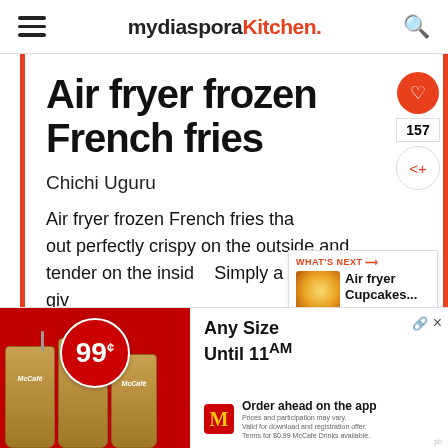mydiaspora Kitchen.
Air fryer frozen French fries
Chichi Uguru
Air fryer frozen French fries that turn out perfectly crispy on the outside and tender on the inside. Simply a case of…
[Figure (screenshot): WHAT'S NEXT: Air fryer Cupcakes... promotional widget with food image]
[Figure (photo): McDonald's McCafe 99 cent any size until 11AM advertisement with iced coffee drinks]